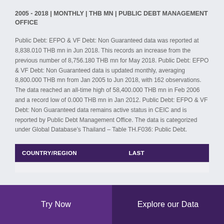2005 - 2018 | MONTHLY | THB MN | PUBLIC DEBT MANAGEMENT OFFICE
Public Debt: EFPO & VF Debt: Non Guaranteed data was reported at 8,838.010 THB mn in Jun 2018. This records an increase from the previous number of 8,756.180 THB mn for May 2018. Public Debt: EFPO & VF Debt: Non Guaranteed data is updated monthly, averaging 8,800.000 THB mn from Jan 2005 to Jun 2018, with 162 observations. The data reached an all-time high of 58,400.000 THB mn in Feb 2006 and a record low of 0.000 THB mn in Jan 2012. Public Debt: EFPO & VF Debt: Non Guaranteed data remains active status in CEIC and is reported by Public Debt Management Office. The data is categorized under Global Database's Thailand – Table TH.F036: Public Debt.
| COUNTRY/REGION | LAST |
| --- | --- |
Try Now | Explore our Data